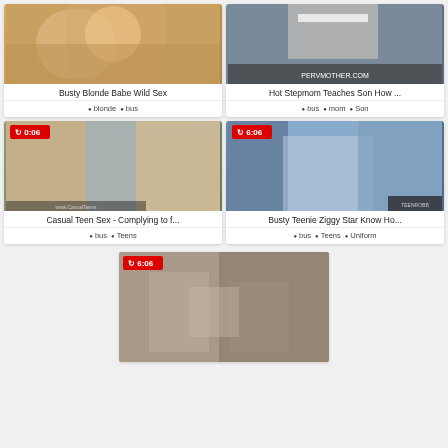[Figure (screenshot): Video thumbnail 1 - blonde woman]
Busty Blonde Babe Wild Sex
● blonde  ● bus
[Figure (screenshot): Video thumbnail 2 - stepmom]
Hot Stepmom Teaches Son How ...
● bus  ● mom  ● Son
[Figure (screenshot): Video thumbnail 3 - 0:06 badge - casual teen]
Casual Teen Sex - Complying to f...
● bus  ● Teens
[Figure (screenshot): Video thumbnail 4 - 6:06 badge - teenie]
Busty Teenie Ziggy Star Know Ho...
● bus  ● Teens  ● Uniform
[Figure (screenshot): Video thumbnail 5 - 6:06 badge - bottom center]